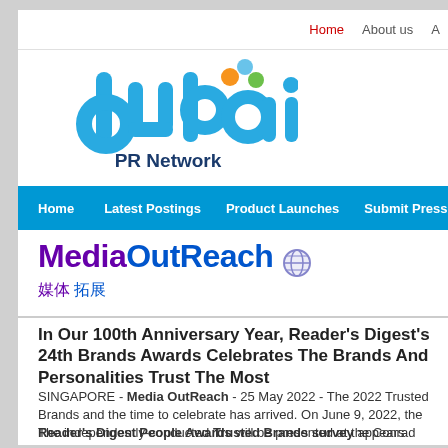Home   About us   A
[Figure (logo): Dubai PR Network logo — stylized blue 'dubai' wordmark with colorful dots above and 'PR Network' subtitle in dark blue]
Home   Latest Postings   Product Launches   Submit Press Release
[Figure (logo): MediaOutReach logo — bold purple and blue text 'MediaOutReach' with globe icon, followed by Chinese characters 媒体拓展]
In Our 100th Anniversary Year, Reader's Digest's 24th Brands Awards Celebrates The Brands And Personalities Trust The Most
SINGAPORE - Media OutReach - 25 May 2022 - The 2022 Trusted Brands and the time to celebrate has arrived. On June 9, 2022, the Reader's Digest People Awards will be presented at the Conrad Hotel, Singapore.
The independently-conducted Trusted Brands survey appears exclusively of the Singapore Reader's Digest. It was conducted by leading market Research, who surveyed 8000 individuals across the five key regions of Philippines, Hong Kong and Taiwan to determine which brands consumers